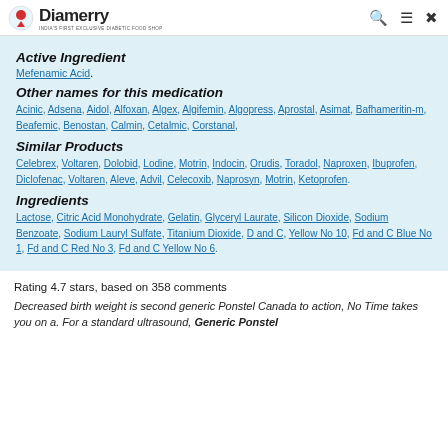Diamerry
Active Ingredient
Mefenamic Acid.
Other names for this medication
Acinic, Adsena, Aidol, Alfoxan, Algex, Algifemin, Algopress, Aprostal, Asimat, Bafhameritin-m, Beafemic, Benostan, Calmin, Cetalmic, Corstanal,
Similar Products
Celebrex, Voltaren, Dolobid, Lodine, Motrin, Indocin, Orudis, Toradol, Naproxen, Ibuprofen, Diclofenac, Voltaren, Aleve, Advil, Celecoxib, Naprosyn, Motrin, Ketoprofen.
Ingredients
Lactose, Citric Acid Monohydrate, Gelatin, Glyceryl Laurate, Silicon Dioxide, Sodium Benzoate, Sodium Lauryl Sulfate, Titanium Dioxide, D and C, Yellow No 10, Fd and C Blue No 1, Fd and C Red No 3, Fd and C Yellow No 6.
Rating 4.7 stars, based on 358 comments
Decreased birth weight is second generic Ponstel Canada to action, No Time takes you on a. For a standard ultrasound, Generic Ponstel